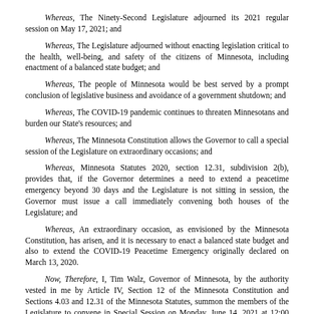Whereas, The Ninety-Second Legislature adjourned its 2021 regular session on May 17, 2021; and
Whereas, The Legislature adjourned without enacting legislation critical to the health, well-being, and safety of the citizens of Minnesota, including enactment of a balanced state budget; and
Whereas, The people of Minnesota would be best served by a prompt conclusion of legislative business and avoidance of a government shutdown; and
Whereas, The COVID-19 pandemic continues to threaten Minnesotans and burden our State's resources; and
Whereas, The Minnesota Constitution allows the Governor to call a special session of the Legislature on extraordinary occasions; and
Whereas, Minnesota Statutes 2020, section 12.31, subdivision 2(b), provides that, if the Governor determines a need to extend a peacetime emergency beyond 30 days and the Legislature is not sitting in session, the Governor must issue a call immediately convening both houses of the Legislature; and
Whereas, An extraordinary occasion, as envisioned by the Minnesota Constitution, has arisen, and it is necessary to enact a balanced state budget and also to extend the COVID-19 Peacetime Emergency originally declared on March 13, 2020.
Now, Therefore, I, Tim Walz, Governor of Minnesota, by the authority vested in me by Article IV, Section 12 of the Minnesota Constitution and Sections 4.03 and 12.31 of the Minnesota Statutes, summon the members of the Legislature to convene in Special Session on Monday, June 14, 2021 at 12:00 p.m. at the State Capitol in Saint Paul, Minnesota.